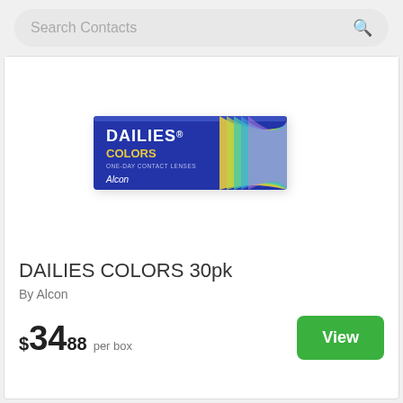Search Contacts
[Figure (photo): Product box of DAILIES COLORS 30pk by Alcon — blue box with colorful wave design on the right side]
DAILIES COLORS 30pk
By Alcon
$34.88 per box
View